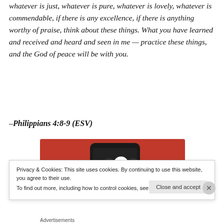whatever is just, whatever is pure, whatever is lovely, whatever is commendable, if there is any excellence, if there is anything worthy of praise, think about these things. What you have learned and received and heard and seen in me — practice these things, and the God of peace will be with you.
–Philippians 4:8-9 (ESV)
[Figure (photo): A red smartphone with a media player interface showing pause and skip buttons on a red background]
Privacy & Cookies: This site uses cookies. By continuing to use this website, you agree to their use.
To find out more, including how to control cookies, see here: Cookie Policy
Close and accept
Advertisements